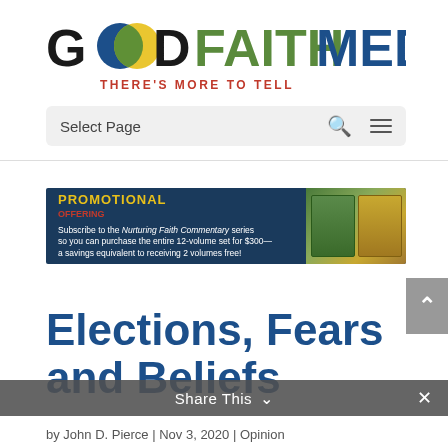[Figure (logo): Good Faith Media logo with blue and yellow overlapping circles, green FAITH text, blue GOOD and MEDIA text, red tagline 'THERE'S MORE TO TELL']
Select Page
[Figure (infographic): Promotional banner ad for Nurturing Faith Commentary series, 12-volume set for $300, savings equivalent to 2 volumes free, dark blue background with book images]
Elections, Fears and Beliefs
Share This
by John D. Pierce | Nov 3, 2020 | Opinion